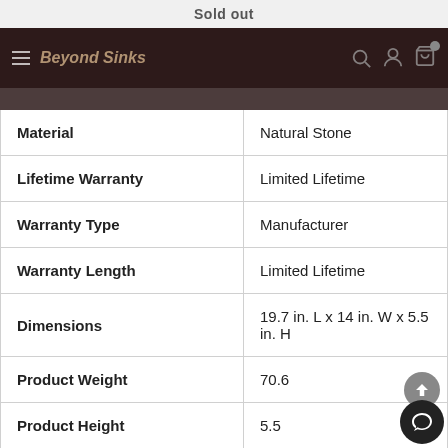Sold out | Beyond Sinks navigation
| Property | Value |
| --- | --- |
| Material | Natural Stone |
| Lifetime Warranty | Limited Lifetime |
| Warranty Type | Manufacturer |
| Warranty Length | Limited Lifetime |
| Dimensions | 19.7 in. L x 14 in. W x 5.5 in. H |
| Product Weight | 70.6 |
| Product Height | 5.5 |
| Product Width | 14 |
| Product Length | 19.7 |
| Cut-Out Front to Back Width | 2.5 |